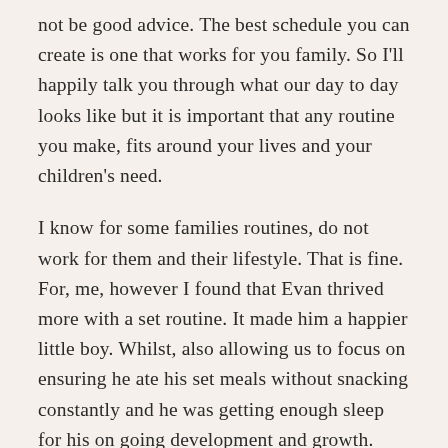not be good advice. The best schedule you can create is one that works for you family. So I'll happily talk you through what our day to day looks like but it is important that any routine you make, fits around your lives and your children's need.
I know for some families routines, do not work for them and their lifestyle. That is fine. For, me, however I found that Evan thrived more with a set routine. It made him a happier little boy. Whilst, also allowing us to focus on ensuring he ate his set meals without snacking constantly and he was getting enough sleep for his on going development and growth.
This is us